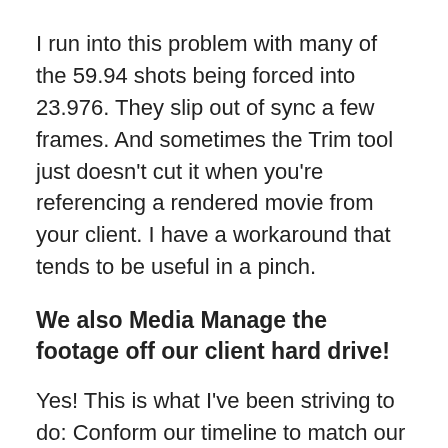I run into this problem with many of the 59.94 shots being forced into 23.976. They slip out of sync a few frames. And sometimes the Trim tool just doesn't cut it when you're referencing a rendered movie from your client. I have a workaround that tends to be useful in a pinch.
We also Media Manage the footage off our client hard drive!
Yes! This is what I've been striving to do: Conform our timeline to match our client's reference movie frame-for-frame, edit-by-edit. With the Conform completed, we can move on and get the footage onto my RAID.
But wait… there's another problem!